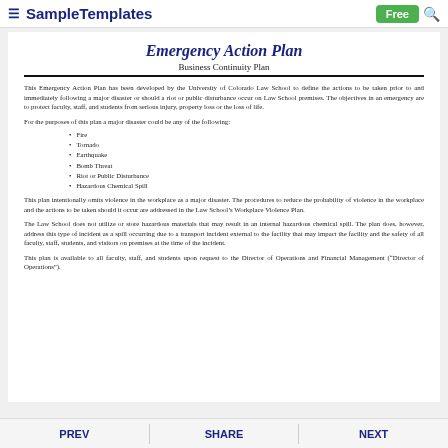SampleTemplates  Free
Emergency Action Plan
Business Continuity Plan
This Emergency Action Plan has been developed by the University of Colorado Law School to define the actions to be taken prior to and immediately following a major disaster or should a riot or public disturbance occur on Law School premises. The objectives in an emergency are to protect faculty, staff, and students from serious injury, property loss or the loss of life.
For the purposes of this plan a major disaster could be any of the following:
Fire
Tornado
Earthquake
Bomb Threat
Riot or Public Disturbance
Hazardous Chemical Spill
This plan intentionally omits violence in the workplace as a major disaster. The procedures to reduce the probability of violence in the workplace and the actions to be taken should it occur are addressed in the Law School's Workplace Violence Plan.
The Law School does not utilize or store hazardous materials that may result in an internal hazardous chemical spill. The plan does, however, address this type of incident as a spill occurring due to a transport incident external to the facility that may impact the facility and the safety of all faculty, staff, students, and visitors on premises at the time of the incident.
This plan is available to all faculty, staff, and students upon request to the Director of Operations and Financial Management (“Director of Operations”).
PREV  SHARE  NEXT